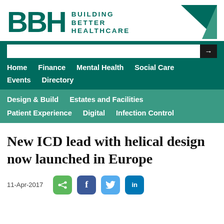[Figure (logo): BBH Building Better Healthcare logo with teal letters and triangle graphic]
Home   Finance   Mental Health   Social Care   Events   Directory
Design & Build   Estates and Facilities   Patient Experience   Digital   Infection Control
New ICD lead with helical design now launched in Europe
11-Apr-2017